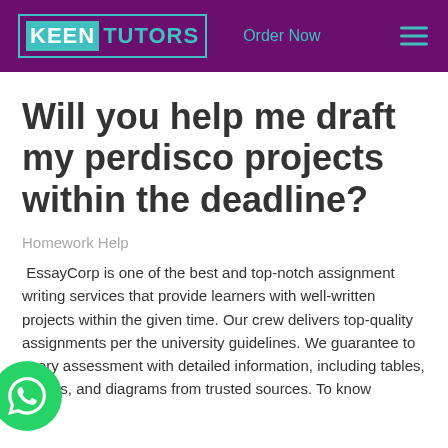KEENTUTORS  Order Now
Will you help me draft my perdisco projects within the deadline?
Homework Help
EssayCorp is one of the best and top-notch assignment writing services that provide learners with well-written projects within the given time. Our crew delivers top-quality assignments per the university guidelines. We guarantee to every assessment with detailed information, including tables, graphs, and diagrams from trusted sources. To know